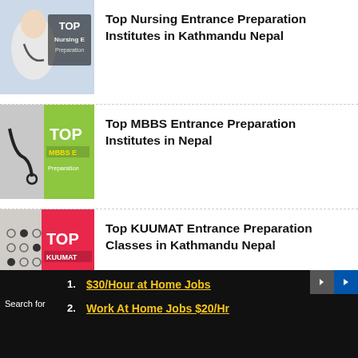Top Nursing Entrance Preparation Institutes in Kathmandu Nepal
Top MBBS Entrance Preparation Institutes in Nepal
Top KUUMAT Entrance Preparation Classes in Kathmandu Nepal
Best IOE Engineering Entrance Preparation...
Search for
1. $30/Hour at Home Jobs
2. Work At Home Jobs $20/Hr